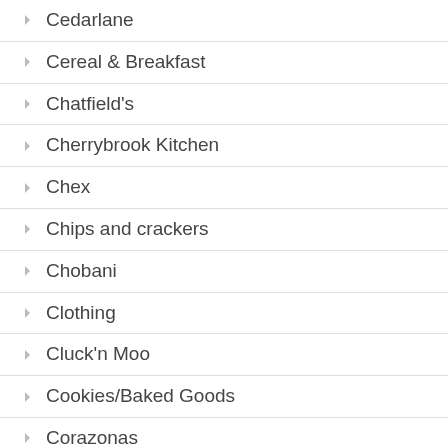Cedarlane
Cereal & Breakfast
Chatfield's
Cherrybrook Kitchen
Chex
Chips and crackers
Chobani
Clothing
Cluck'n Moo
Cookies/Baked Goods
Corazonas